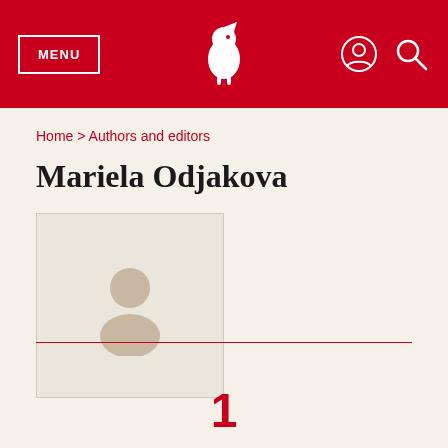MENU [logo] [user icon] [search icon]
Home > Authors and editors
Mariela Odjakova
[Figure (illustration): Placeholder author photo with a grey silhouette of a person on a light beige background, inside a rectangular border]
1